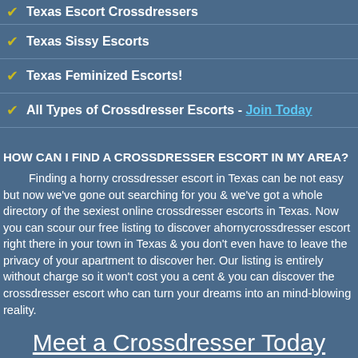✔ Texas Escort Crossdressers
✔ Texas Sissy Escorts
✔ Texas Feminized Escorts!
✔ All Types of Crossdresser Escorts - Join Today
HOW CAN I FIND A CROSSDRESSER ESCORT IN MY AREA?
Finding a horny crossdresser escort in Texas can be not easy but now we've gone out searching for you & we've got a whole directory of the sexiest online crossdresser escorts in Texas. Now you can scour our free listing to discover ahornycrossdresser escort right there in your town in Texas & you don't even have to leave the privacy of your apartment to discover her. Our listing is entirely without charge so it won't cost you a cent & you can discover the crossdresser escort who can turn your dreams into an mind-blowing reality.
Meet a Crossdresser Today